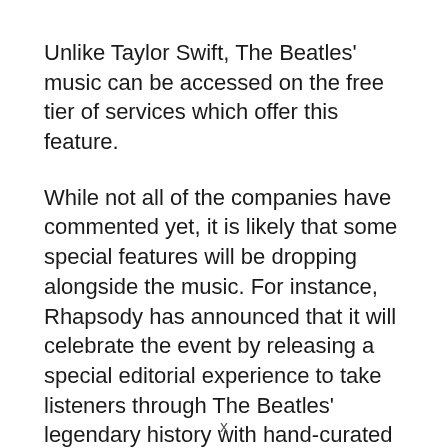Unlike Taylor Swift, The Beatles' music can be accessed on the free tier of services which offer this feature.
While not all of the companies have commented yet, it is likely that some special features will be dropping alongside the music. For instance, Rhapsody has announced that it will celebrate the event by releasing a special editorial experience to take listeners through The Beatles' legendary history with hand-curated playlists, articles, and a pictorial history slideshow.
The Beatles were relatively late to the online music game, with a deal to make their music available for
x